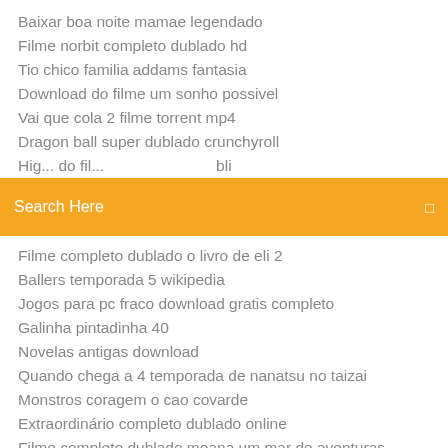Baixar boa noite mamae legendado
Filme norbit completo dublado hd
Tio chico familia addams fantasia
Download do filme um sonho possivel
Vai que cola 2 filme torrent mp4
Dragon ball super dublado crunchyroll
(partial item cut off)
[Figure (screenshot): Orange search bar with text 'Search Here' and a search icon on the right]
Filme completo dublado o livro de eli 2
Ballers temporada 5 wikipedia
Jogos para pc fraco download gratis completo
Galinha pintadinha 40
Novelas antigas download
Quando chega a 4 temporada de nanatsu no taizai
Monstros coragem o cao covarde
Extraordinário completo dublado online
Filme completo dublado moana um mar de aventuras online